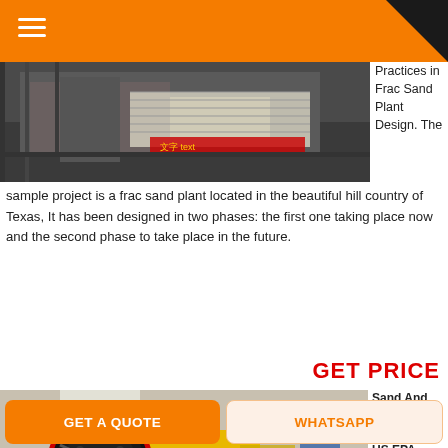≡ (hamburger menu)
[Figure (photo): Industrial machinery/equipment inside a factory or plant, showing metal frames, conveyor or screening equipment, with Chinese text visible on a red banner]
Practices in Frac Sand Plant Design. The sample project is a frac sand plant located in the beautiful hill country of Texas, It has been designed in two phases: the first one taking place now and the second phase to take place in the future.
GET PRICE
[Figure (photo): Industrial jaw crusher with large black and red flywheel, yellow body, inside a warehouse/industrial building]
Sand And Gravel Processing US EPA
11/95 Sand
GET A QUOTE    WHATSAPP